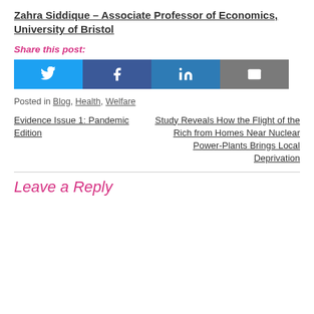Zahra Siddique – Associate Professor of Economics, University of Bristol
Share this post:
[Figure (other): Social share buttons: Twitter, Facebook, LinkedIn, Email]
Posted in Blog, Health, Welfare
Evidence Issue 1: Pandemic Edition
Study Reveals How the Flight of the Rich from Homes Near Nuclear Power-Plants Brings Local Deprivation
Leave a Reply